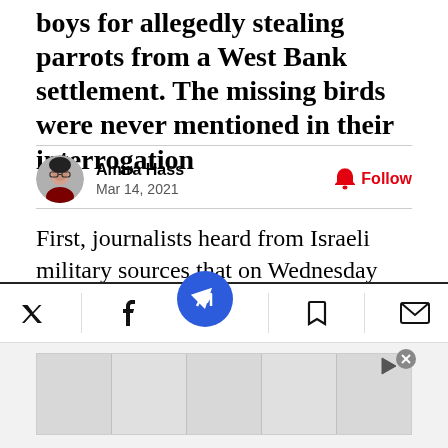boys for allegedly stealing parrots from a West Bank settlement. The missing birds were never mentioned in their interrogation
Amira Hass
Mar 14, 2021
First, journalists heard from Israeli military sources that on Wednesday soldiers had detained children for allegedly stealing parrots from the West Bank settlement outpost of Havat Ma’on. Later, when video of the arrest went viral, Maurice Hirsch, the former head of the military prosecu’ the West Bank